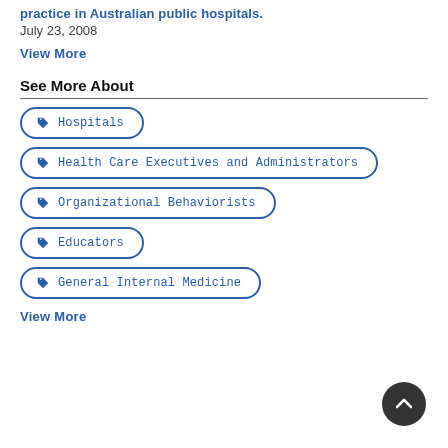practice in Australian public hospitals.
July 23, 2008
View More
See More About
Hospitals
Health Care Executives and Administrators
Organizational Behaviorists
Educators
General Internal Medicine
View More